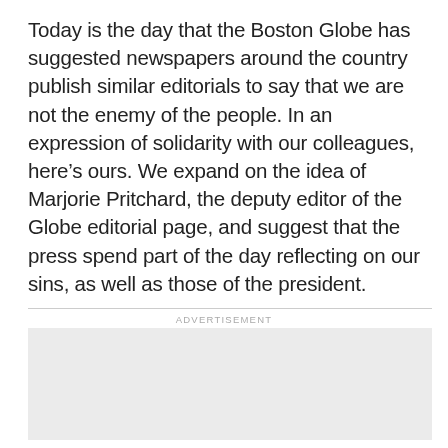Today is the day that the Boston Globe has suggested newspapers around the country publish similar editorials to say that we are not the enemy of the people. In an expression of solidarity with our colleagues, here’s ours. We expand on the idea of Marjorie Pritchard, the deputy editor of the Globe editorial page, and suggest that the press spend part of the day reflecting on our sins, as well as those of the president.
ADVERTISEMENT
[Figure (other): Advertisement placeholder box with light grey background]